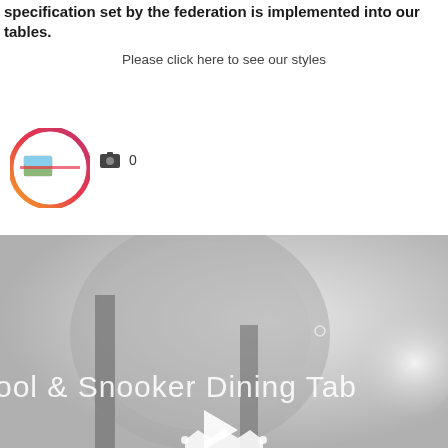specification set by the federation is implemented into our tables.
Please click here to see our styles
[Figure (logo): Circular logo with gradient pink/orange border and a small landscape image in the center]
0
[Figure (screenshot): Video thumbnail showing a blurred grey room with a large circular/oval shape in the background. Text overlay reads 'Pool & Snooker Dining Tab' with a white play button triangle in the center and a crown icon at the bottom.]